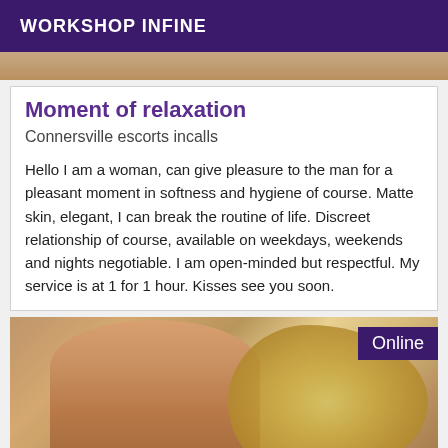WORKSHOP INFINE
[Figure (photo): Partial photo at top of page, cropped]
Moment of relaxation
Connersville escorts incalls
Hello I am a woman, can give pleasure to the man for a pleasant moment in softness and hygiene of course. Matte skin, elegant, I can break the routine of life. Discreet relationship of course, available on weekdays, weekends and nights negotiable. I am open-minded but respectful. My service is at 1 for 1 hour. Kisses see you soon.
[Figure (photo): Photo of a woman with curly blonde hair holding grapes near her mouth, with an 'Online' badge in the top right corner]